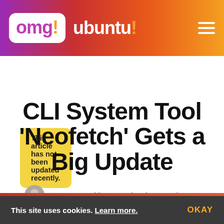omg! ubuntu!
This article has not been updated recently.
CLI System Tool ‘Neofetch’ Gets a Big Update
By Joey Sneddon · Updated 24 March 2019
This site uses cookies. Learn more. OKAY